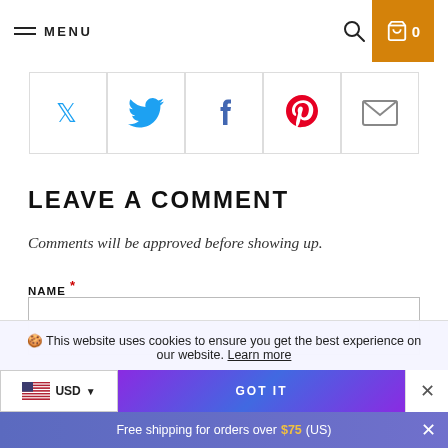MENU | Search | Cart 0
[Figure (illustration): Social sharing icons: Twitter (blue bird), Facebook (f), Pinterest (red P), Email (envelope), arranged in a row of bordered boxes]
LEAVE A COMMENT
Comments will be approved before showing up.
NAME *
🍪 This website uses cookies to ensure you get the best experience on our website. Learn more
USD  GOT IT  ×
Free shipping for orders over $75 (US)